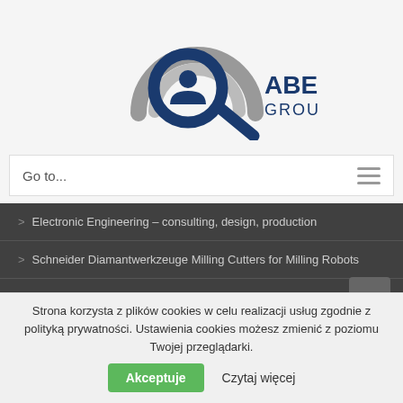[Figure (logo): ABE Group logo with magnifying glass icon over concentric rings in gray and dark blue, with text ABE GROUP]
Go to...
> Electronic Engineering – consulting, design, production
> Schneider Diamantwerkzeuge Milling Cutters for Milling Robots
> Production Line Designs. Industrial Automation.
> Schneider Diamantwerkzeuge Milling Cutters for Milling Robots
Strona korzysta z plików cookies w celu realizacji usług zgodnie z polityką prywatności. Ustawienia cookies możesz zmienić z poziomu Twojej przeglądarki.
Akceptuje
Czytaj więcej